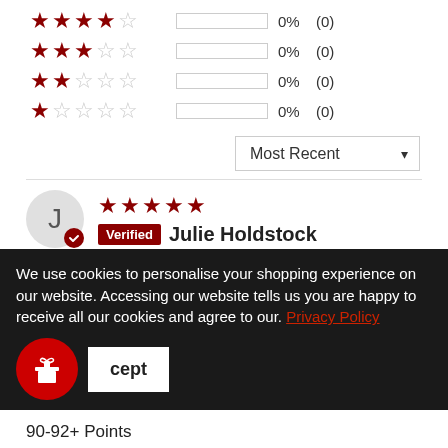[Figure (infographic): Rating distribution rows: 4-star 0% (0), 3-star 0% (0), 2-star 0% (0), 1-star 0% (0), each with a star display, empty progress bar, percentage and count]
Most Recent ▼ (sort dropdown)
★★★★★ Verified Julie Holdstock
Great value
We love Julien Brocard Chablis Ier Cru Côte de
We use cookies to personalise your shopping experience on our website. Accessing our website tells us you are happy to receive all our cookies and agree to our Privacy Policy
Accept
90-92+ Points